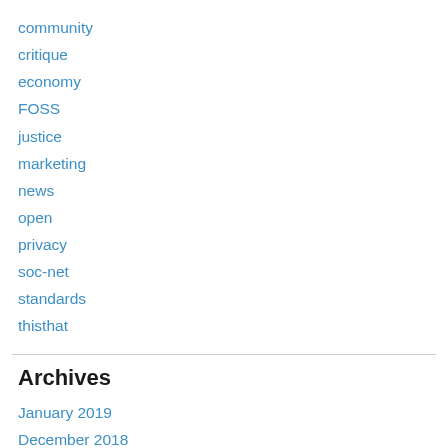community
critique
economy
FOSS
justice
marketing
news
open
privacy
soc-net
standards
thisthat
Archives
January 2019
December 2018
November 2018
October 2018